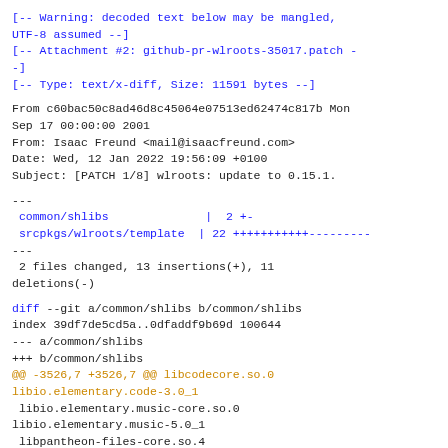[-- Warning: decoded text below may be mangled, UTF-8 assumed --]
[-- Attachment #2: github-pr-wlroots-35017.patch --]
[-- Type: text/x-diff, Size: 11591 bytes --]
From c60bac50c8ad46d8c45064e07513ed62474c817b Mon
Sep 17 00:00:00 2001
From: Isaac Freund <mail@isaacfreund.com>
Date: Wed, 12 Jan 2022 19:56:09 +0100
Subject: [PATCH 1/8] wlroots: update to 0.15.1.
---
 common/shlibs              |  2 +-
 srcpkgs/wlroots/template  | 22 +++++++++++---------
---
 2 files changed, 13 insertions(+), 11 deletions(-)
diff --git a/common/shlibs b/common/shlibs
index 39df7de5cd5a..0dfaddf9b69d 100644
--- a/common/shlibs
+++ b/common/shlibs
@@ -3526,7 +3526,7 @@ libcodecore.so.0
libio.elementary.code-3.0_1
 libio.elementary.music-core.so.0
libio.elementary.music-5.0_1
 libpantheon-files-core.so.4
libio.elementary.files-4.1.4_1
 libpantheon-files-widgets.so.4